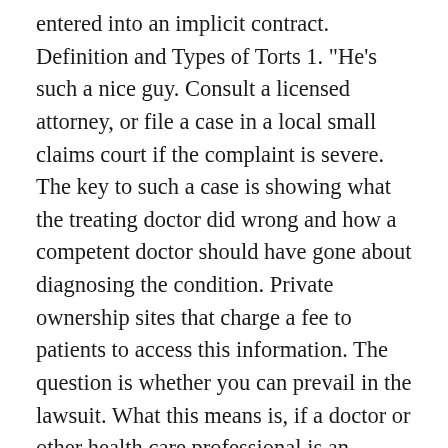entered into an implicit contract. Definition and Types of Torts 1. "He's such a nice guy. Consult a licensed attorney, or file a case in a local small claims court if the complaint is severe. The key to such a case is showing what the treating doctor did wrong and how a competent doctor should have gone about diagnosing the condition. Private ownership sites that charge a fee to patients to access this information. The question is whether you can prevail in the lawsuit. What this means is, if a doctor or other health care professional is an independent contractor, and commits malpractice while treating a patient in a hospital, the hospital cannot be held liable for the doctor's negligence. Christine, who's a